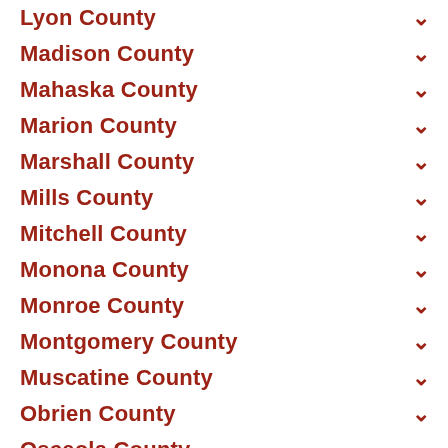Lyon County
Madison County
Mahaska County
Marion County
Marshall County
Mills County
Mitchell County
Monona County
Monroe County
Montgomery County
Muscatine County
Obrien County
Osceola County